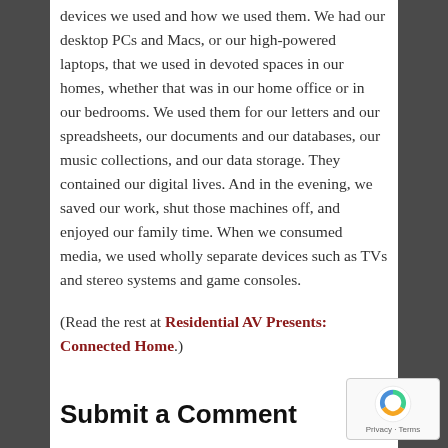devices we used and how we used them. We had our desktop PCs and Macs, or our high-powered laptops, that we used in devoted spaces in our homes, whether that was in our home office or in our bedrooms. We used them for our letters and our spreadsheets, our documents and our databases, our music collections, and our data storage. They contained our digital lives. And in the evening, we saved our work, shut those machines off, and enjoyed our family time. When we consumed media, we used wholly separate devices such as TVs and stereo systems and game consoles.
(Read the rest at Residential AV Presents: Connected Home.)
Submit a Comment